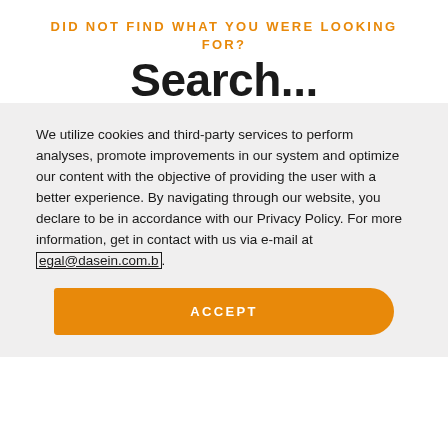DID NOT FIND WHAT YOU WERE LOOKING FOR?
Search...
We utilize cookies and third-party services to perform analyses, promote improvements in our system and optimize our content with the objective of providing the user with a better experience. By navigating through our website, you declare to be in accordance with our Privacy Policy. For more information, get in contact with us via e-mail at egal@dasein.com.b.
ACCEPT